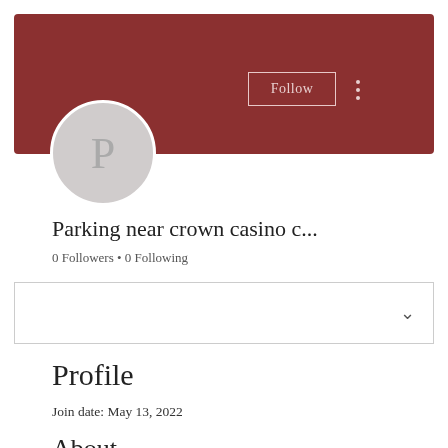[Figure (screenshot): User profile banner with dark red/maroon background, a circular avatar with letter P, a Follow button, and three-dot menu]
Parking near crown casino c...
0 Followers • 0 Following
[Figure (other): Dropdown/selector box with chevron]
Profile
Join date: May 13, 2022
About